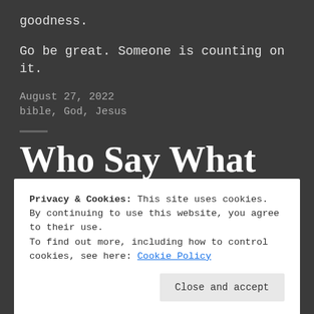goodness.
Go be great. Someone is counting on it.
August 27, 2022
bible, God, Jesus
Who Say What Now
Thoughts
Privacy & Cookies: This site uses cookies. By continuing to use this website, you agree to their use.
To find out more, including how to control cookies, see here: Cookie Policy
Close and accept
With the caveat, the addition of seeing yourself now